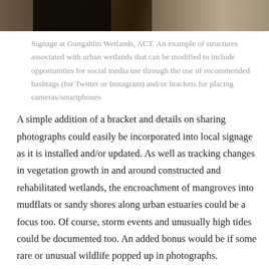[Figure (photo): Photograph of signage at Gungahlin Wetlands, ACT — partial view showing a sign post and surrounding vegetation/ground]
Signage at Gungahlin Wetlands, ACT. An example of structures associated with urban wetlands that can be modified to include opportunities for social media use through the use of recommended hashtags (for Twitter or Instagram) and/or brackets for placing cameras/smartphones
A simple addition of a bracket and details on sharing photographs could easily be incorporated into local signage as it is installed and/or updated. As well as tracking changes in vegetation growth in and around constructed and rehabilitated wetlands, the encroachment of mangroves into mudflats or sandy shores along urban estuaries could be a focus too. Of course, storm events and unusually high tides could be documented too. An added bonus would be if some rare or unusual wildlife popped up in photographs.